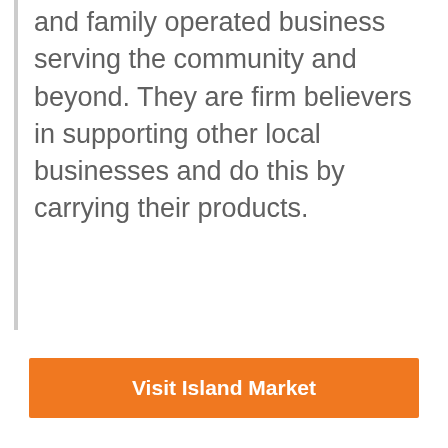and family operated business serving the community and beyond. They are firm believers in supporting other local businesses and do this by carrying their products.
Visit Island Market
[Figure (photo): Close-up photo of a burger with a sesame bun, beef patty with melted cheese, lettuce, red onion, and tomato on a blurred green background.]